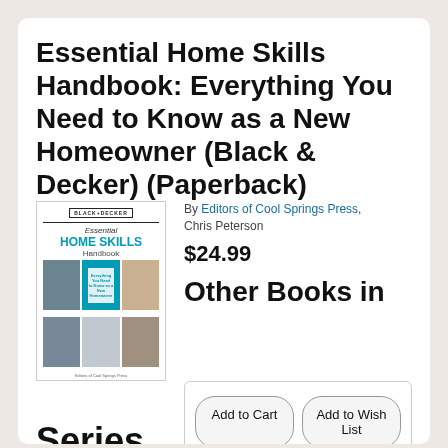Essential Home Skills Handbook: Everything You Need to Know as a New Homeowner (Black & Decker) (Paperback)
By Editors of Cool Springs Press, Chris Peterson
$24.99
[Figure (illustration): Book cover of Essential Home Skills Handbook (Black & Decker) showing a grid of home improvement photos]
Other Books in
Series
#7:
Add to Cart
Add to Wish List
Available to SHIP now; STORE PICKUP in 7-10 days